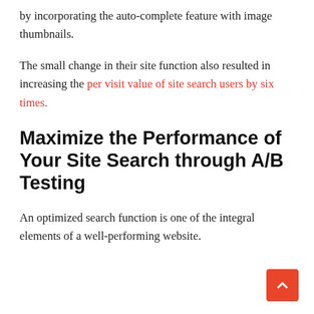by incorporating the auto-complete feature with image thumbnails.
The small change in their site function also resulted in increasing the per visit value of site search users by six times.
Maximize the Performance of Your Site Search through A/B Testing
An optimized search function is one of the integral elements of a well-performing website.